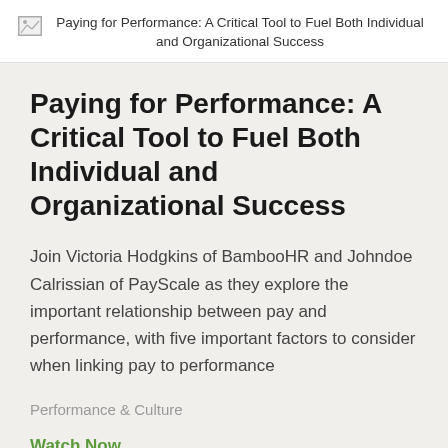Paying for Performance: A Critical Tool to Fuel Both Individual and Organizational Success
Paying for Performance: A Critical Tool to Fuel Both Individual and Organizational Success
Join Victoria Hodgkins of BambooHR and Johndoe Calrissian of PayScale as they explore the important relationship between pay and performance, with five important factors to consider when linking pay to performance
Performance & Culture
Watch Now